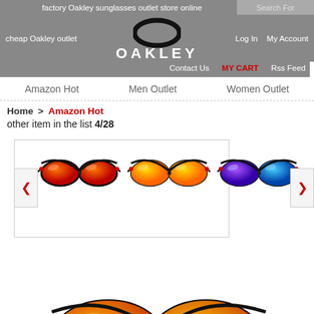factory Oakley sunglasses outlet store online
[Figure (logo): Oakley logo with oval O and OAKLEY text]
cheap Oakley outlet   Log In   My Account   Contact Us   MY CART   Rss Feed
Amazon Hot   Men Outlet   Women Outlet
Home > Amazon Hot
other item in the list 4/28
[Figure (photo): Three pairs of Oakley sport sunglasses: red lenses, orange lenses, and blue/purple lenses with black frames, shown in a horizontal carousel]
[Figure (photo): Partial view of a large Oakley sunglasses product image at the bottom of the page]